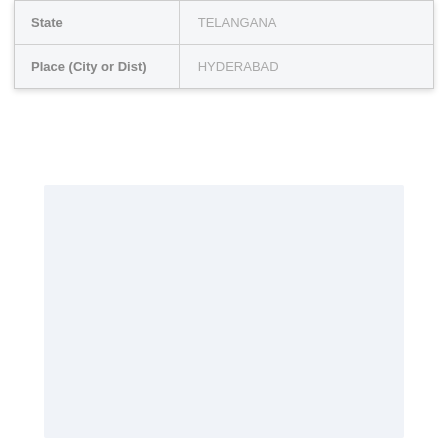| Field | Value |
| --- | --- |
| State | TELANGANA |
| Place (City or Dist) | HYDERABAD |